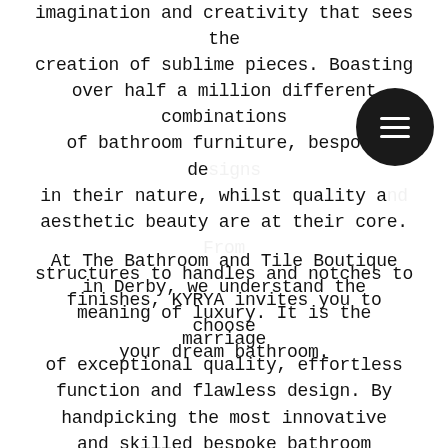imagination and creativity that sees the creation of sublime pieces. Boasting over half a million different combinations of bathroom furniture, bespoke de… in their nature, whilst quality a… aesthetic beauty are at their core. From structures to handles and notches to finishes, KYRYA invites you to choose your dream bathroom.
At The Bathroom and Tile Boutique in Derby, we understand the meaning of luxury. It is the marriage of exceptional quality, effortless function and flawless design. By handpicking the most innovative and skilled bespoke bathroom furniture designers from across the globe, we can be certain of our